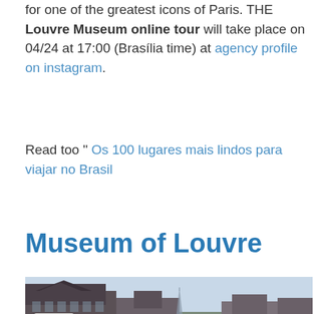for one of the greatest icons of Paris. THE Louvre Museum online tour will take place on 04/24 at 17:00 (Brasília time) at agency profile on instagram.
Read too " Os 100 lugares mais lindos para viajar no Brasil
Museum of Louvre
[Figure (photo): Photograph of the Louvre Museum exterior in Paris, showing the historic stone buildings against a light sky with the Eiffel Tower visible in the background. A small box with a US flag emoji is overlaid in the lower left area of the image.]